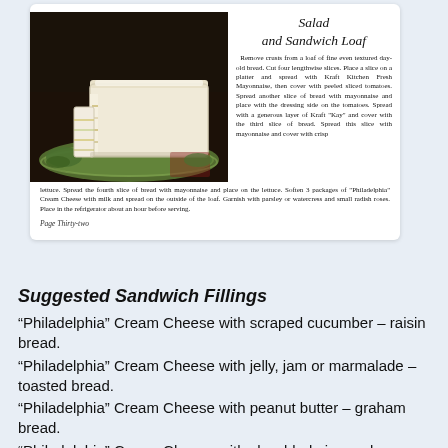[Figure (photo): Photograph of a Salad and Sandwich Loaf on a platter, showing layered sandwich loaf with cream cheese exterior and sliced cross-section, on a dark background with green garnish.]
Salad
and Sandwich Loaf
Remove crusts from a loaf of fine even textured day-old bread. Cut four lengthwise slices. Place a slice on a platter and spread with Kraft Kitchen Fresh Mayonnaise, then cover with peeled sliced tomatoes. Spread another slice of bread with mayonnaise and place with the dressing side on the tomatoes. Spread with a generous layer of Kraft "Kay" and cover with the third slice of bread. Spread this slice with mayonnaise and cover with crisp lettuce. Spread the fourth slice of bread with mayonnaise and place on the lettuce. Soften 3 packages of "Philadelphia" Cream Cheese with milk and spread on the outside of the loaf. Garnish with parsley or watercress and small radish roses. Place in the refrigerator about an hour before serving.
Page Thirty-two
Suggested Sandwich Fillings
“Philadelphia” Cream Cheese with scraped cucumber – raisin bread.
“Philadelphia” Cream Cheese with jelly, jam or marmalade – toasted bread.
“Philadelphia” Cream Cheese with peanut butter – graham bread.
“Philadelphia” Cream Cheese with shredded pineapple.
“Philadelphia” Cream Cheese with olives and sweet pickle.